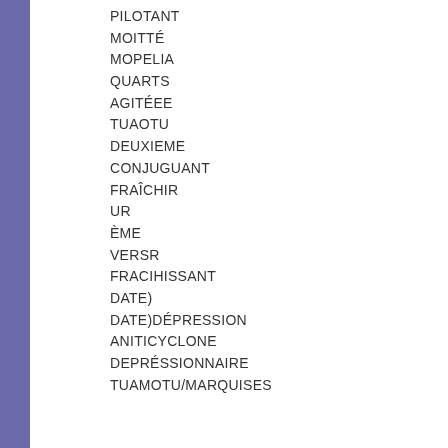PILOTANT
MOITTÉ
MOPELIA
QUARTS
AGITÉEE
TUAOTU
DEUXIEME
CONJUGUANT
FRAÎCHIR
UR
ÈME
VERSR
FRACIHISSANT
DATE)
DATE)DÉPRESSION
ANITICYCLONE
DEPRÉSSIONNAIRE
TUAMOTU/MARQUISES